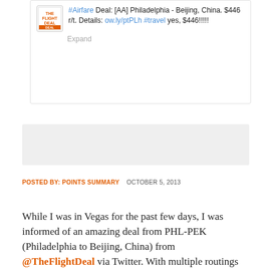[Figure (screenshot): Tweet screenshot showing The Flight Deal logo and tweet text: '#Airfare Deal: [AA] Philadelphia - Beijing, China. $446 r/t. Details: ow.ly/ptPLh #travel yes, $446!!!!!' with an Expand link]
[Figure (other): Gray advertisement/placeholder box]
POSTED BY: POINTS SUMMARY   OCTOBER 5, 2013
While I was in Vegas for the past few days, I was informed of an amazing deal from PHL-PEK (Philadelphia to Beijing, China) from @TheFlightDeal via Twitter. With multiple routings from PHL-BOS-ORD-PEK-ORD-LGA-PHL, it came out to $446. To me, I absolutely...